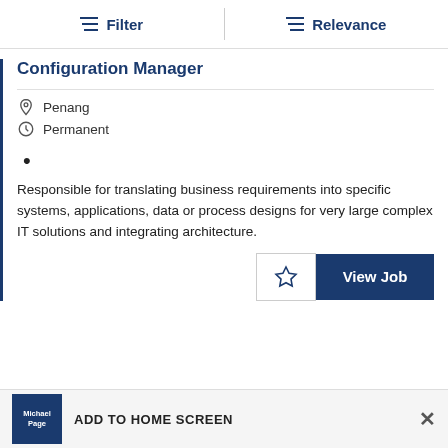Filter   Relevance
Configuration Manager
Penang
Permanent
•
Responsible for translating business requirements into specific systems, applications, data or process designs for very large complex IT solutions and integrating architecture.
ADD TO HOME SCREEN